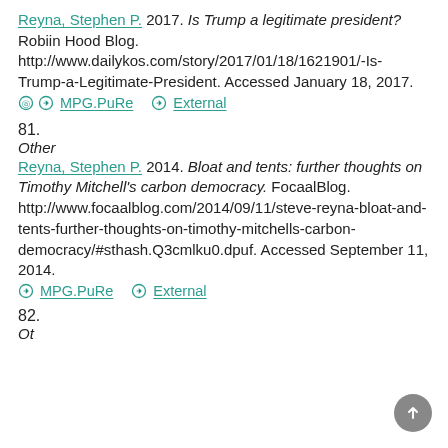Reyna, Stephen P. 2017. Is Trump a legitimate president? Robiin Hood Blog. http://www.dailykos.com/story/2017/01/18/1621901/-Is-Trump-a-Legitimate-President. Accessed January 18, 2017. ⓐ MPG.PuRe  ⓐ External
81.
Other
Reyna, Stephen P. 2014. Bloat and tents: further thoughts on Timothy Mitchell's carbon democracy. FocaalBlog. http://www.focaalblog.com/2014/09/11/steve-reyna-bloat-and-tents-further-thoughts-on-timothy-mitchells-carbon-democracy/#sthash.Q3cmlku0.dpuf. Accessed September 11, 2014. ⓐ MPG.PuRe  ⓐ External
82.
Other